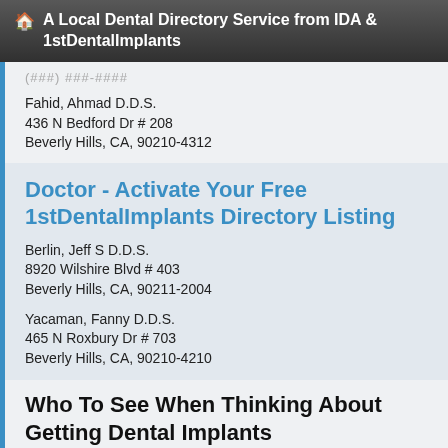A Local Dental Directory Service from IDA & 1stDentalImplants
(truncated phone number)
Fahid, Ahmad D.D.S.
436 N Bedford Dr # 208
Beverly Hills, CA, 90210-4312
Doctor - Activate Your Free 1stDentalImplants Directory Listing
Berlin, Jeff S D.D.S.
8920 Wilshire Blvd # 403
Beverly Hills, CA, 90211-2004
Yacaman, Fanny D.D.S.
465 N Roxbury Dr # 703
Beverly Hills, CA, 90210-4210
Who To See When Thinking About Getting Dental Implants
If dental implants are what you need to